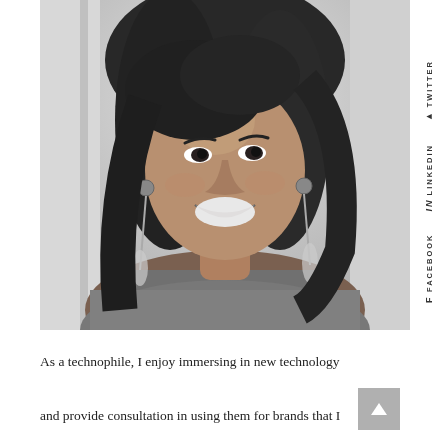[Figure (photo): Black and white portrait photograph of a smiling young woman with long wavy hair and feather earrings, wearing a denim shirt, looking upward]
FACEBOOK
LINKEDIN
TWITTER
As a technophile, I enjoy immersing in new technology and provide consultation in using them for brands that I work on. I am also a published illustrator who draws on